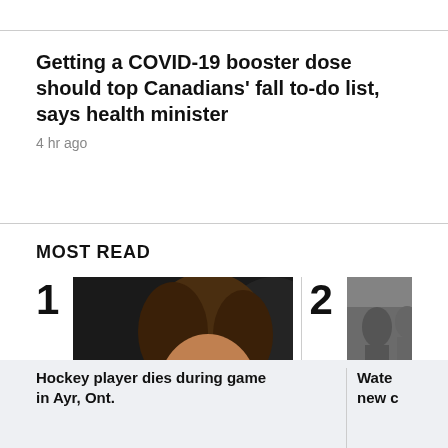Getting a COVID-19 booster dose should top Canadians' fall to-do list, says health minister
4 hr ago
MOST READ
[Figure (photo): Photo of a young man with curly brown hair wearing a black shirt and necklace, against a dark background. Labeled as item 1 in Most Read list.]
Hockey player dies during game in Ayr, Ont.
[Figure (photo): Partial photo of people outdoors, cut off at right edge. Labeled as item 2 in Most Read list.]
Wate new c